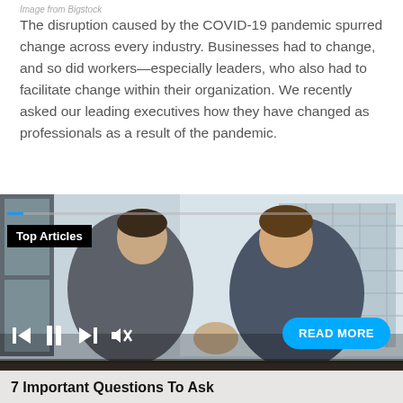Image from Bigstock
The disruption caused by the COVID-19 pandemic spurred change across every industry. Businesses had to change, and so did workers—especially leaders, who also had to facilitate change within their organization. We recently asked our leading executives how they have changed as professionals as a result of the pandemic.
[Figure (photo): Two men in business attire sitting across from each other at a table in an office with large windows, appearing to have a conversation. Overlay shows 'Top Articles' badge, media playback controls, a 'READ MORE' button, and a caption bar reading '7 Important Questions To Ask']
7 Important Questions To Ask